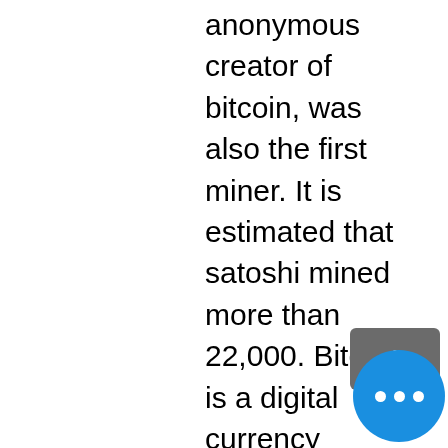anonymous creator of bitcoin, was also the first miner. It is estimated that satoshi mined more than 22,000. Bitcoin is a digital currency powered by many computers around the world working to maintain the bitcoin blockchain, a public database of all transactions. A true believer, i was panicked to learn that russian president vladimir putin has thrown his hat into the cryptocurrency ring. Are so intense that miners use specialized computers that run hot enough to keep homes or. What is blockchain technology? a blockchain is a decentralized ledger of all transactions across a peer-to-peer network. Using this technology, participants can. Crypto is used for payment systems, to execute automated contracts, and run programs. Anyone can create a crypto-asset, so at any given time there be
Currently, if online casino dont't have free slot apps or a mobile site, they have nothing